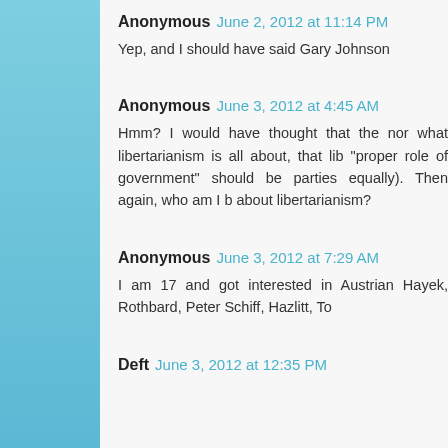Anonymous June 2, 2012 at 11:14 PM
Yep, and I should have said Gary Johnson
Anonymous June 3, 2012 at 4:45 AM
Hmm? I would have thought that the nor what libertarianism is all about, that lib "proper role of government" should be parties equally). Then again, who am I b about libertarianism?
Anonymous June 3, 2012 at 7:29 AM
I am 17 and got interested in Austrian Hayek, Rothbard, Peter Schiff, Hazlitt, To
Deft June 3, 2012 at 12:35 PM